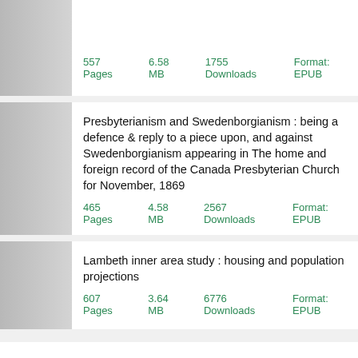557 Pages   6.58 MB   1755 Downloads   Format: EPUB
Presbyterianism and Swedenborgianism : being a defence & reply to a piece upon, and against Swedenborgianism appearing in The home and foreign record of the Canada Presbyterian Church for November, 1869
465 Pages   4.58 MB   2567 Downloads   Format: EPUB
Lambeth inner area study : housing and population projections
607 Pages   3.64 MB   6776 Downloads   Format: EPUB
PDFLINDS   DMCA   Contact us   Terms & Privacy